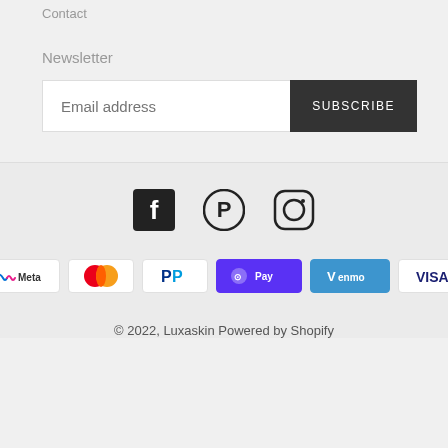Contact
Newsletter
Email address  SUBSCRIBE
[Figure (infographic): Social media icons: Facebook, Pinterest, Instagram]
[Figure (infographic): Payment method logos: Meta Pay, Mastercard, PayPal, Shop Pay (purple), Venmo (blue), Visa]
© 2022, Luxaskin Powered by Shopify